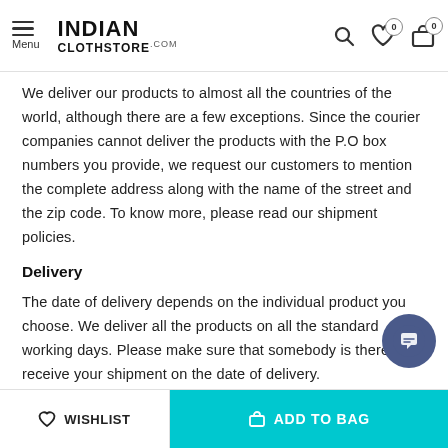INDIAN CLOTHSTORE.COM — Menu | Search | Wishlist 0 | Cart 0
We deliver our products to almost all the countries of the world, although there are a few exceptions. Since the courier companies cannot deliver the products with the P.O box numbers you provide, we request our customers to mention the complete address along with the name of the street and the zip code. To know more, please read our shipment policies.
Delivery
The date of delivery depends on the individual product you choose. We deliver all the products on all the standard working days. Please make sure that somebody is there to receive your shipment on the date of delivery.
Feel Free To Return
Please feel free to return the product under our 'hassle free return policy' within & days of the purchase. We are always glad to assist to in the process, as we believe that your satisfaction is our responsibility.
WISHLIST | ADD TO BAG